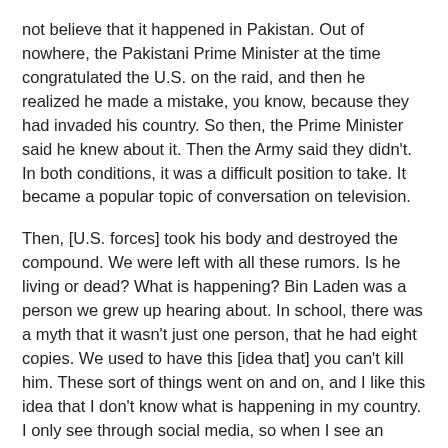not believe that it happened in Pakistan. Out of nowhere, the Pakistani Prime Minister at the time congratulated the U.S. on the raid, and then he realized he made a mistake, you know, because they had invaded his country. So then, the Prime Minister said he knew about it. Then the Army said they didn't. In both conditions, it was a difficult position to take. It became a popular topic of conversation on television.
Then, [U.S. forces] took his body and destroyed the compound. We were left with all these rumors. Is he living or dead? What is happening? Bin Laden was a person we grew up hearing about. In school, there was a myth that it wasn't just one person, that he had eight copies. We used to have this [idea that] you can't kill him. These sort of things went on and on, and I like this idea that I don't know what is happening in my country. I only see through social media, so when I see an actual… well, I once saw a bomb blast right in front of me.